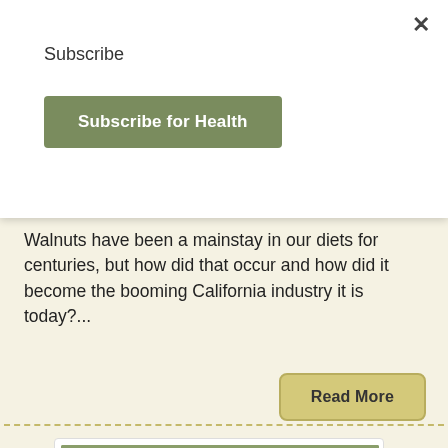Subscribe
Subscribe for Health
Walnuts have been a mainstay in our diets for centuries, but how did that occur and how did it become the booming California industry it is today?...
Read More
[Figure (photo): A glass jar filled with sprouting seeds and fresh green leaves, herbs arranged around it on a wooden surface.]